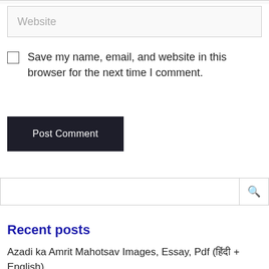Website
Save my name, email, and website in this browser for the next time I comment.
Post Comment
Search
Recent posts
Azadi ka Amrit Mahotsav Images, Essay, Pdf (हिंदी + English)